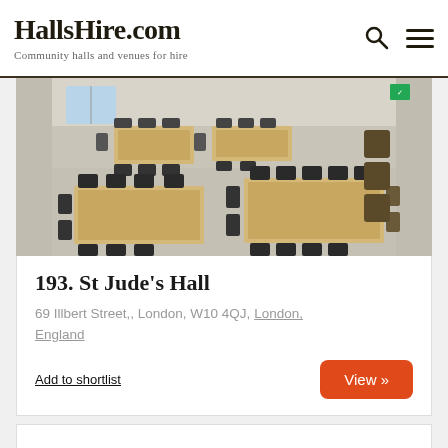HallsHire.com — Community halls and venues for hire
[Figure (photo): Interior photo of St Jude's Hall showing tables and chairs arranged in a community hall setting, light wood tables with black folding chairs, grey floor.]
193. St Jude's Hall
69 Illbert Street,, London, W10 4QJ, London, England
Add to shortlist
View »